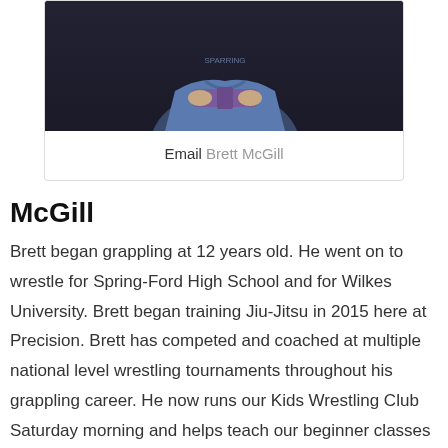[Figure (photo): Photo of Brett McGill tying or adjusting a purple jiu-jitsu belt, wearing a blue gi jacket, dark background]
Email Brett McGill
McGill
Brett began grappling at 12 years old. He went on to wrestle for Spring-Ford High School and for Wilkes University. Brett began training Jiu-Jitsu in 2015 here at Precision. Brett has competed and coached at multiple national level wrestling tournaments throughout his grappling career. He now runs our Kids Wrestling Club Saturday morning and helps teach our beginner classes as well. He is 1-0 in the Fight 2 Win promotion.